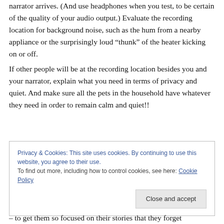narrator arrives. (And use headphones when you test, to be certain of the quality of your audio output.) Evaluate the recording location for background noise, such as the hum from a nearby appliance or the surprisingly loud “thunk” of the heater kicking on or off.
If other people will be at the recording location besides you and your narrator, explain what you need in terms of privacy and quiet. And make sure all the pets in the household have whatever they need in order to remain calm and quiet!!
Privacy & Cookies: This site uses cookies. By continuing to use this website, you agree to their use.
To find out more, including how to control cookies, see here: Cookie Policy
– to get them so focused on their stories that they forget